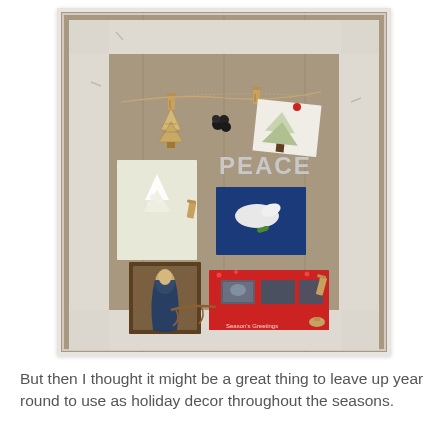[Figure (photo): A white distressed wooden picture frame used as a holiday card display board. Inside the frame, several Christmas cards and decorations are hung with clothespins on twine. Items include: a wooden Christmas tree ornament, a white card with a Christmas tree design, a card with 'PEACE' lettering and black berries, a card with white birds/doves, a blue card with a dove, a religious icon card, and a red Christmas photo card. The background is a taupe/tan wood-paneled wall.]
But then I thought it might be a great thing to leave up year round to use as holiday decor throughout the seasons.